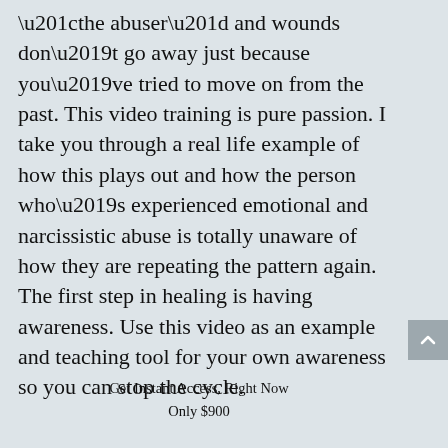“the abuser” and wounds don’t go away just because you’ve tried to move on from the past. This video training is pure passion. I take you through a real life example of how this plays out and how the person who’s experienced emotional and narcissistic abuse is totally unaware of how they are repeating the pattern again. The first step in healing is having awareness. Use this video as an example and teaching tool for your own awareness so you can stop the cycle.
Get Instant Access, Right Now
Only $900